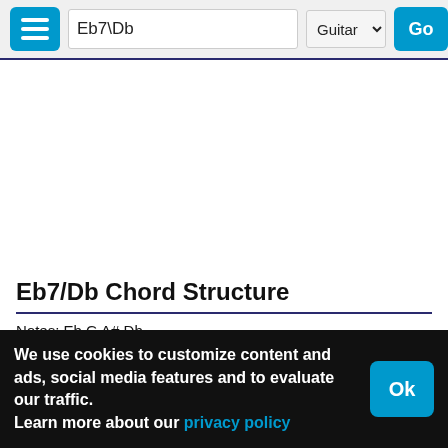Eb7\Db | Guitar | Go
Eb7/Db Chord Structure
Notes: Eb G A# Db
Interval structure: R 3 5 m7
Chord construction:
major chord: chord has major third (R + 3)
chord is 7 (dominant 7): major chord (R 3 5) + m7
We use cookies to customize content and ads, social media features and to evaluate our traffic.
Learn more about our privacy policy